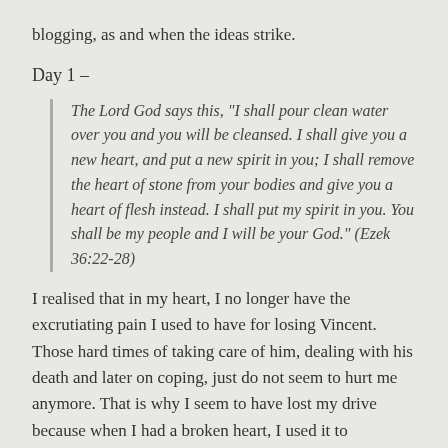blogging, as and when the ideas strike.
Day 1 –
The Lord God says this, “I shall pour clean water over you and you will be cleansed. I shall give you a new heart, and put a new spirit in you; I shall remove the heart of stone from your bodies and give you a heart of flesh instead. I shall put my spirit in you. You shall be my people and I will be your God.” (Ezek 36:22-28)
I realised that in my heart, I no longer have the excrutiating pain I used to have for losing Vincent. Those hard times of taking care of him, dealing with his death and later on coping, just do not seem to hurt me anymore. That is why I seem to have lost my drive because when I had a broken heart, I used it to